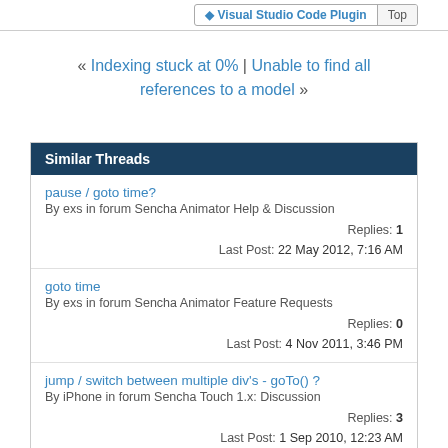Visual Studio Code Plugin | Top
« Indexing stuck at 0% | Unable to find all references to a model »
| Similar Threads |
| --- |
| pause / goto time? | By exs in forum Sencha Animator Help & Discussion | Replies: 1 | Last Post: 22 May 2012, 7:16 AM |
| goto time | By exs in forum Sencha Animator Feature Requests | Replies: 0 | Last Post: 4 Nov 2011, 3:46 PM |
| jump / switch between multiple div's - goTo() ? | By iPhone in forum Sencha Touch 1.x: Discussion | Replies: 3 | Last Post: 1 Sep 2010, 12:23 AM |
| any goTo function? | By profunctional in forum Sencha Touch 1.x: Discussion | Replies: 1 | Last Post: 8 Jul 2010, 8:26 AM |
| PagingToolbar goto page |  |  |  |